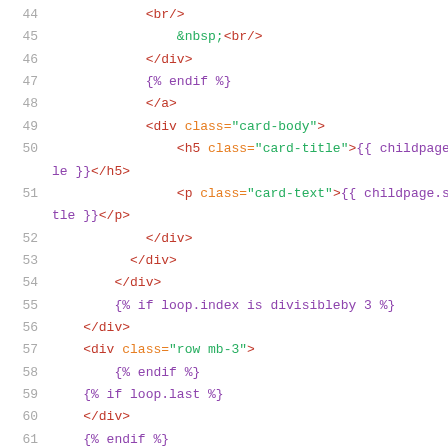Code listing lines 44-64 showing HTML template with Twig/Jinja template tags
44    <br/>
45        &nbsp;<br/>
46    </div>
47    {% endif %}
48    </a>
49    <div class="card-body">
50        <h5 class="card-title">{{ childpage.title }}</h5>
51            <p class="card-text">{{ childpage.subtitle }}</p>
52        </div>
53      </div>
54    </div>
55    {% if loop.index is divisibleby 3 %}
56    </div>
57    <div class="row mb-3">
58        {% endif %}
59    {% if loop.last %}
60    </div>
61    {% endif %}
62    {% endfor %}
63    </div>
64  </div>